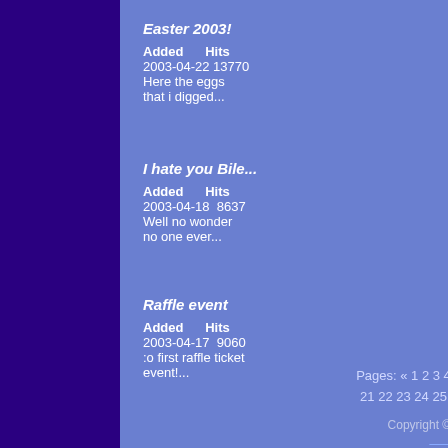Easter 2003!
Added  Hits
2003-04-22 13770
Here the eggs that i digged...
I hate you Bile...
Added  Hits
2003-04-18  8637
Well no wonder no one ever...
Raffle event
Added  Hits
2003-04-17  9060
:o first raffle ticket event!...
Pages: « 1 2 3 4 5 6 7 8 9 10 11 12 13 14 15 16 17 18 19 20 21 22 23 24 25 26 27 28 29 30 31 32 33 34 35 36 37 38 39 40 41 42 »
Copyright © 1998-2019 All Rights Reserved. | Privacy Statement
easterp...
Added
2003-04-...
As you c... were ou...
Summo...
Avatar o...
Added
2003-04-...
The ava... Bile, a...
Angere...
Added
2003-04-...
After ne... the God...